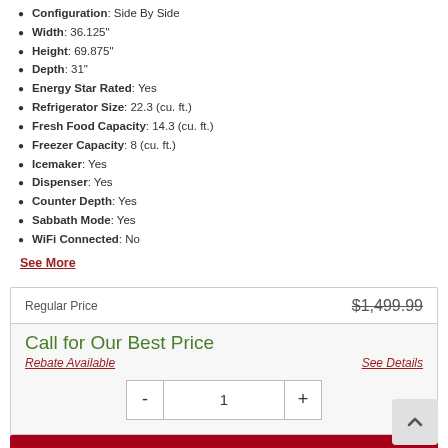Configuration: Side By Side
Width: 36.125"
Height: 69.875"
Depth: 31"
Energy Star Rated: Yes
Refrigerator Size: 22.3 (cu. ft.)
Fresh Food Capacity: 14.3 (cu. ft.)
Freezer Capacity: 8 (cu. ft.)
Icemaker: Yes
Dispenser: Yes
Counter Depth: Yes
Sabbath Mode: Yes
WiFi Connected: No
See More
| Label | Value |
| --- | --- |
| Regular Price | $1,499.99 |
| Call for Our Best Price |  |
| Rebate Available | See Details |